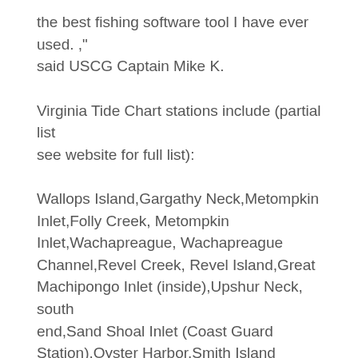the best fishing software tool I have ever used. ," said USCG Captain Mike K.
Virginia Tide Chart stations include (partial list see website for full list):
Wallops Island,Gargathy Neck,Metompkin Inlet,Folly Creek, Metompkin Inlet,Wachapreague, Wachapreague Channel,Revel Creek, Revel Island,Great Machipongo Inlet (inside),Upshur Neck, south end,Sand Shoal Inlet (Coast Guard Station),Oyster Harbor,Smith Island (Coast Guard Station),Cape Henry,Virginia Beach,Rudee Inlet entrance,Rudee Inlet, interior channel,Rudee Heights, Lake Wesley,Lake Rudee, south end,Sandbridge,Fishermans Island,Kiptopeke Beach,Old Plantation...